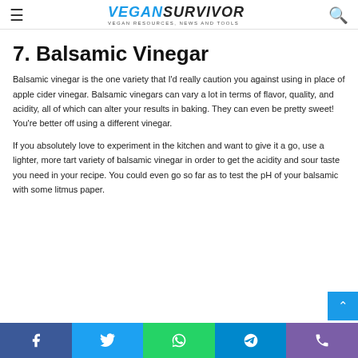VEGANSURVIVOR — VEGAN RESOURCES, NEWS AND TOOLS
7. Balsamic Vinegar
Balsamic vinegar is the one variety that I'd really caution you against using in place of apple cider vinegar. Balsamic vinegars can vary a lot in terms of flavor, quality, and acidity, all of which can alter your results in baking. They can even be pretty sweet! You're better off using a different vinegar.
If you absolutely love to experiment in the kitchen and want to give it a go, use a lighter, more tart variety of balsamic vinegar in order to get the acidity and sour taste you need in your recipe. You could even go so far as to test the pH of your balsamic with some litmus paper.
Facebook | Twitter | WhatsApp | Telegram | Phone